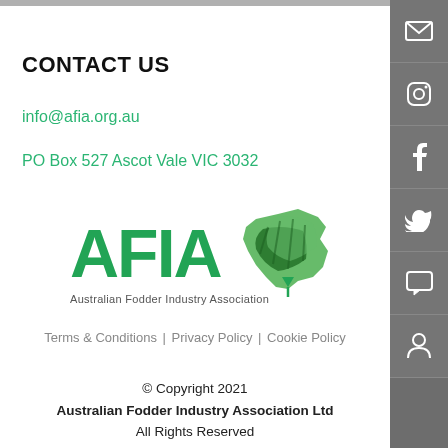CONTACT US
info@afia.org.au
PO Box 527 Ascot Vale VIC 3032
[Figure (logo): AFIA - Australian Fodder Industry Association logo with green text and Australia map graphic made of green fodder/hay]
Terms & Conditions | Privacy Policy | Cookie Policy
© Copyright 2021
Australian Fodder Industry Association Ltd
All Rights Reserved